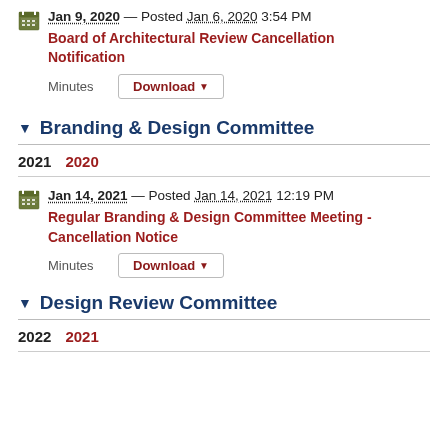Jan 9, 2020 — Posted Jan 6, 2020 3:54 PM
Board of Architectural Review Cancellation Notification
Minutes Download
▼ Branding & Design Committee
2021  2020
Jan 14, 2021 — Posted Jan 14, 2021 12:19 PM
Regular Branding & Design Committee Meeting - Cancellation Notice
Minutes Download
▼ Design Review Committee
2022  2021